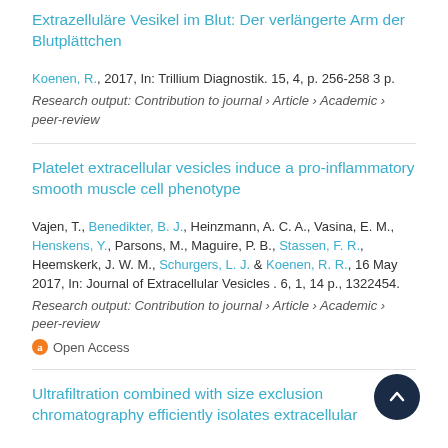Extrazelluläre Vesikel im Blut: Der verlängerte Arm der Blutplättchen
Koenen, R., 2017, In: Trillium Diagnostik. 15, 4, p. 256-258 3 p.
Research output: Contribution to journal › Article › Academic › peer-review
Platelet extracellular vesicles induce a pro-inflammatory smooth muscle cell phenotype
Vajen, T., Benedikter, B. J., Heinzmann, A. C. A., Vasina, E. M., Henskens, Y., Parsons, M., Maguire, P. B., Stassen, F. R., Heemskerk, J. W. M., Schurgers, L. J. & Koenen, R. R., 16 May 2017, In: Journal of Extracellular Vesicles . 6, 1, 14 p., 1322454.
Research output: Contribution to journal › Article › Academic › peer-review
Open Access
Ultrafiltration combined with size exclusion chromatography efficiently isolates extracellular